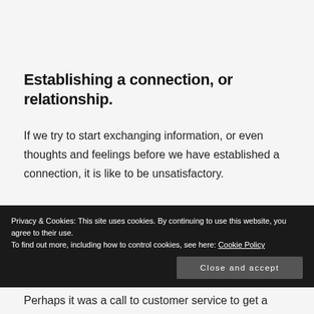Establishing a connection, or relationship.
If we try to start exchanging information, or even thoughts and feelings before we have established a connection, it is like to be unsatisfactory.
[Figure (other): WordPress VIP advertisement banner with gradient orange-pink-purple background and Learn more button]
Privacy & Cookies: This site uses cookies. By continuing to use this website, you agree to their use.
To find out more, including how to control cookies, see here: Cookie Policy
Perhaps it was a call to customer service to get a